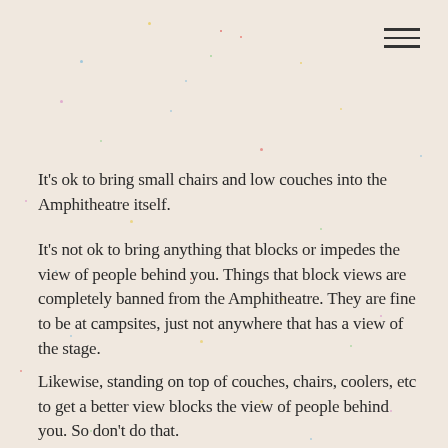It's ok to bring small chairs and low couches into the Amphitheatre itself.
It's not ok to bring anything that blocks or impedes the view of people behind you. Things that block views are completely banned from the Amphitheatre. They are fine to be at campsites, just not anywhere that has a view of the stage.
Likewise, standing on top of couches, chairs, coolers, etc to get a better view blocks the view of people behind you. So don't do that.
Please take all your furniture (and tarps and tents) home with you – we don't want it and neither does Landfill.